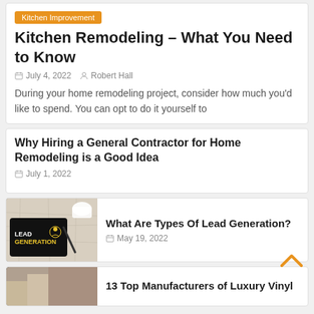Kitchen Improvement
Kitchen Remodeling – What You Need to Know
July 4, 2022   Robert Hall
During your home remodeling project, consider how much you'd like to spend. You can opt to do it yourself to
Why Hiring a General Contractor for Home Remodeling is a Good Idea
July 1, 2022
[Figure (photo): Tablet showing LEAD GENERATION text with a coffee cup and pen on a map background]
What Are Types Of Lead Generation?
May 19, 2022
[Figure (photo): Partial image teaser for 13 Top Manufacturers of Luxury Vinyl article]
13 Top Manufacturers of Luxury Vinyl